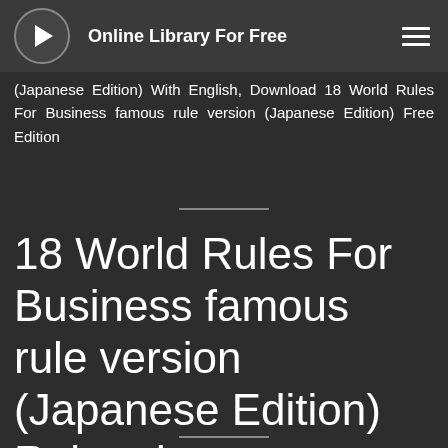Online Library For Free
(Japanese Edition) With English, Download 18 World Rules For Business famous rule version (Japanese Edition) Free Edition
18 World Rules For Business famous rule version (Japanese Edition) Related